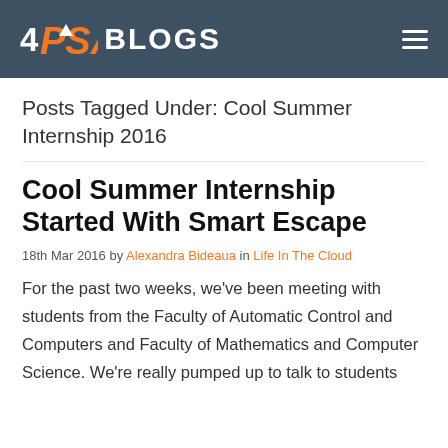4PSA BLOGS
Posts Tagged Under: Cool Summer Internship 2016
Cool Summer Internship Started With Smart Escape
18th Mar 2016 by Alexandra Bideaua in Life In The Cloud
For the past two weeks, we've been meeting with students from the Faculty of Automatic Control and Computers and Faculty of Mathematics and Computer Science. We're really pumped up to talk to students